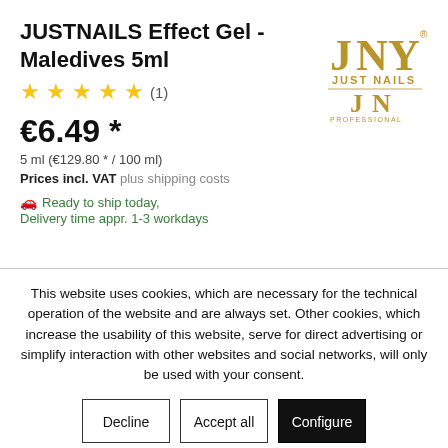JUSTNAILS Effect Gel - Maledives 5ml
★★★★★ (1)
€6.49 *
5 ml (€129.80 * / 100 ml)
Prices incl. VAT plus shipping costs
🚚 Ready to ship today, Delivery time appr. 1-3 workdays
[Figure (logo): JUST NAILS PROFESSIONAL logo in gold/brown tones]
This website uses cookies, which are necessary for the technical operation of the website and are always set. Other cookies, which increase the usability of this website, serve for direct advertising or simplify interaction with other websites and social networks, will only be used with your consent.
Decline | Accept all | Configure